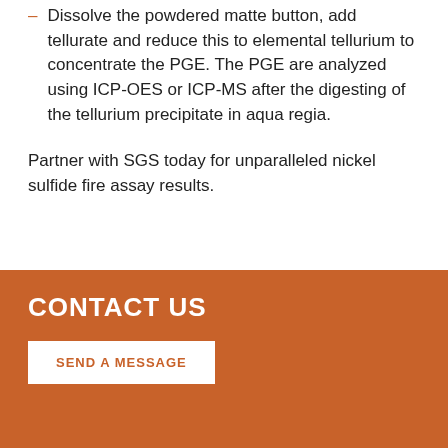Dissolve the powdered matte button, add tellurate and reduce this to elemental tellurium to concentrate the PGE. The PGE are analyzed using ICP-OES or ICP-MS after the digesting of the tellurium precipitate in aqua regia.
Partner with SGS today for unparalleled nickel sulfide fire assay results.
CONTACT US
SEND A MESSAGE